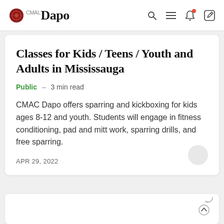Dapo
Classes for Kids / Teens / Youth and Adults in Mississauga
Public  –  3 min read
CMAC Dapo offers sparring and kickboxing for kids ages 8-12 and youth. Students will engage in fitness conditioning, pad and mitt work, sparring drills, and free sparring.
APR 29, 2022